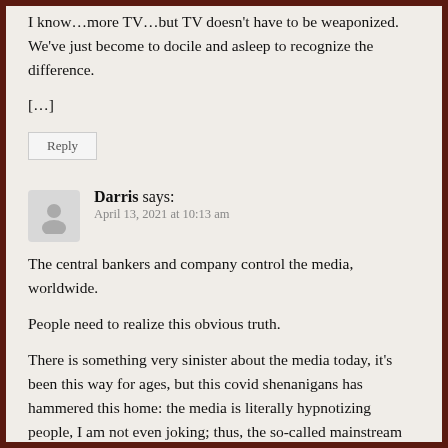I know…more TV…but TV doesn't have to be weaponized. We've just become to docile and asleep to recognize the difference.
[…]
Reply
Darris says:
April 13, 2021 at 10:13 am
The central bankers and company control the media, worldwide.
People need to realize this obvious truth.
There is something very sinister about the media today, it's been this way for ages, but this covid shenanigans has hammered this home: the media is literally hypnotizing people, I am not even joking; thus, the so-called mainstream media should be avoided like the plague.